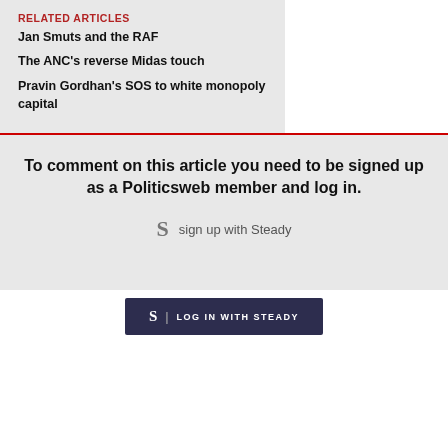RELATED ARTICLES
Jan Smuts and the RAF
The ANC's reverse Midas touch
Pravin Gordhan's SOS to white monopoly capital
To comment on this article you need to be signed up as a Politicsweb member and log in.
sign up with Steady
LOG IN WITH STEADY